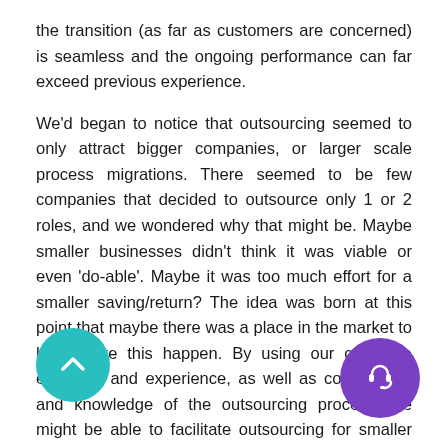the transition (as far as customers are concerned) is seamless and the ongoing performance can far exceed previous experience.
We'd began to notice that outsourcing seemed to only attract bigger companies, or larger scale process migrations. There seemed to be few companies that decided to outsource only 1 or 2 roles, and we wondered why that might be. Maybe smaller businesses didn’t think it was viable or even ‘do-able’. Maybe it was too much effort for a smaller saving/return? The idea was born at this point that maybe there was a place in the market to help make this happen. By using our collective expertise and experience, as well as connections and knowledge of the outsourcing process, we might be able to facilitate outsourcing for smaller businesses too.
So here we are. Looking to help companies, supporting